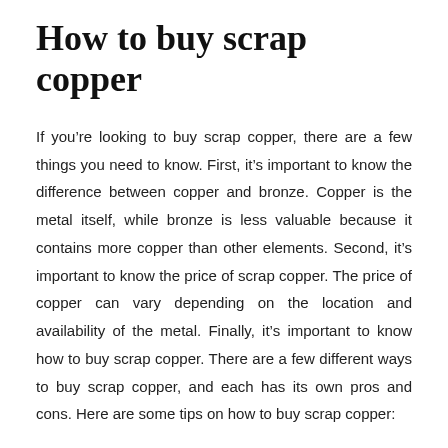How to buy scrap copper
If you’re looking to buy scrap copper, there are a few things you need to know. First, it’s important to know the difference between copper and bronze. Copper is the metal itself, while bronze is less valuable because it contains more copper than other elements. Second, it’s important to know the price of scrap copper. The price of copper can vary depending on the location and availability of the metal. Finally, it’s important to know how to buy scrap copper. There are a few different ways to buy scrap copper, and each has its own pros and cons. Here are some tips on how to buy scrap copper:
The first way to buy scrap copper is to find a metal dealer who sells recycled metals. Metal dealers